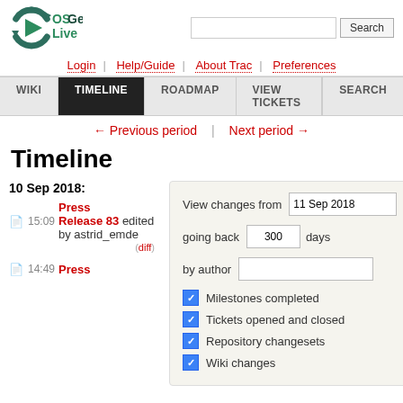[Figure (logo): OSGeoLive logo with circular arrow icon and green/dark teal text]
Login | Help/Guide | About Trac | Preferences
WIKI | TIMELINE | ROADMAP | VIEW TICKETS | SEARCH
← Previous period | Next period →
Timeline
10 Sep 2018:
15:09 Press Release 83 edited by astrid_emde (diff)
14:49 Press
View changes from 11 Sep 2018 going back 300 days by author
Milestones completed
Tickets opened and closed
Repository changesets
Wiki changes